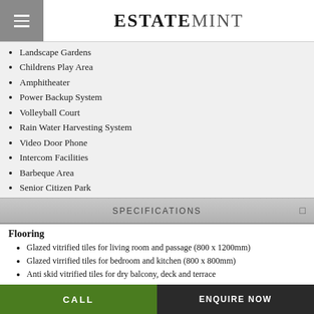ESTATEMINT
Landscape Gardens
Childrens Play Area
Amphitheater
Power Backup System
Volleyball Court
Rain Water Harvesting System
Video Door Phone
Intercom Facilities
Barbeque Area
Senior Citizen Park
SPECIFICATIONS
Flooring
Glazed vitrified tiles for living room and passage (800 x 1200mm)
Glazed virrified tiles for bedroom and kitchen (800 x 800mm)
Anti skid vitrified tiles for dry balcony, deck and terrace
Vitrified tiles for toilet
Anti skid vitrified tiles for dry balcony deck and terrace
Bathroom
Designer tiles on the walls
CALL   ENQUIRE NOW